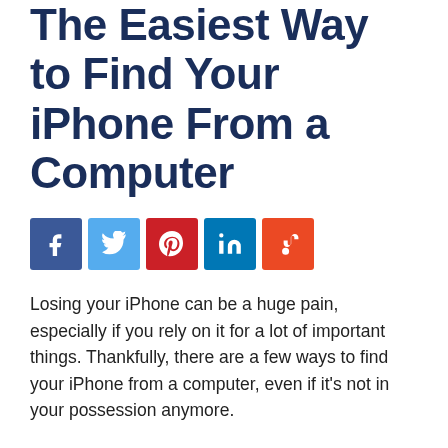The Easiest Way to Find Your iPhone From a Computer
[Figure (infographic): Social sharing buttons: Facebook (blue), Twitter (light blue), Pinterest (red), LinkedIn (blue), StumbleUpon (orange-red)]
Losing your iPhone can be a huge pain, especially if you rely on it for a lot of important things. Thankfully, there are a few ways to find your iPhone from a computer, even if it's not in your possession anymore.
One way to find your iPhone is by using the Find My iPhone app. This app is built into every iOS device and allows you to track it down no matter